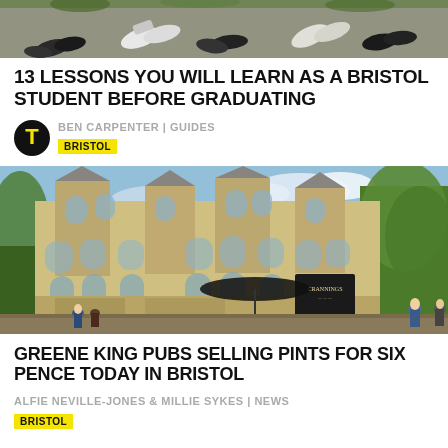[Figure (photo): Top-cropped photo of people's shoes/feet standing on gravel/pavement, aerial view]
13 LESSONS YOU WILL LEARN AS A BRISTOL STUDENT BEFORE GRADUATING
BEN CARPENTER | GUIDES
BRISTOL
[Figure (photo): Exterior photo of a large Victorian stone pub/hotel building (Crannings) with turrets, blue sky, trees, and people walking outside]
GREENE KING PUBS SELLING PINTS FOR SIX PENCE TODAY IN BRISTOL
ALFIE NEVILLE-JONES & MILLIE SYKES | NEWS
BRISTOL